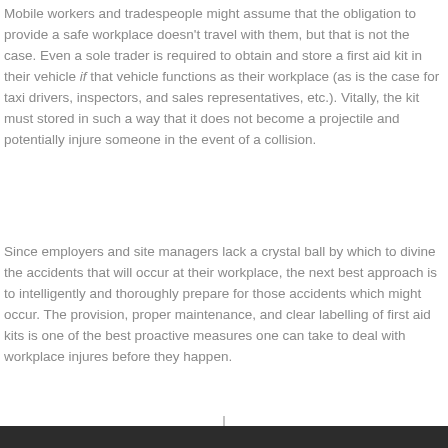Mobile workers and tradespeople might assume that the obligation to provide a safe workplace doesn't travel with them, but that is not the case. Even a sole trader is required to obtain and store a first aid kit in their vehicle if that vehicle functions as their workplace (as is the case for taxi drivers, inspectors, and sales representatives, etc.). Vitally, the kit must stored in such a way that it does not become a projectile and potentially injure someone in the event of a collision.
Since employers and site managers lack a crystal ball by which to divine the accidents that will occur at their workplace, the next best approach is to intelligently and thoroughly prepare for those accidents which might occur. The provision, proper maintenance, and clear labelling of first aid kits is one of the best proactive measures one can take to deal with workplace injures before they happen.